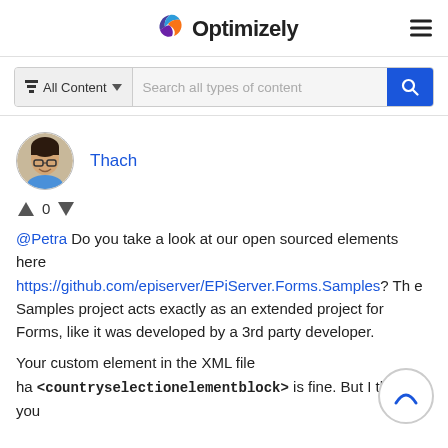Optimizely
All Content  Search all types of content
Thach
^ 0 v
@Petra Do you take a look at our open sourced elements here https://github.com/episerver/EPiServer.Forms.Samples? The Samples project acts exactly as an extended project for Forms, like it was developed by a 3rd party developer.

Your custom element in the XML file has <countryselectionelementblock> is fine. But I think you